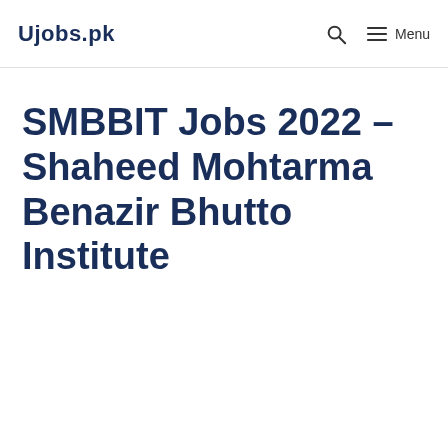Ujobs.pk
SMBBIT Jobs 2022 – Shaheed Mohtarma Benazir Bhutto Institute